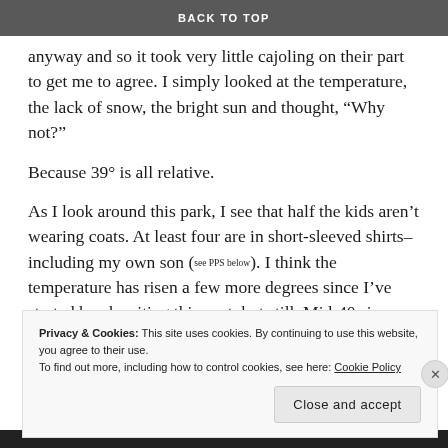BACK TO TOP
anyway and so it took very little cajoling on their part to get me to agree. I simply looked at the temperature, the lack of snow, the bright sun and thought, “Why not?”
Because 39° is all relative.
As I look around this park, I see that half the kids aren’t wearing coats. At least four are in short-sleeved shirts–including my own son (see PPS below). I think the temperature has risen a few more degrees since I’ve started hand-writing this post, but still. Mid-40s is hardly short-sleeve shirt weather. Yet I love it. They love it. We’re all in heaven!
Privacy & Cookies: This site uses cookies. By continuing to use this website, you agree to their use.
To find out more, including how to control cookies, see here: Cookie Policy
Close and accept